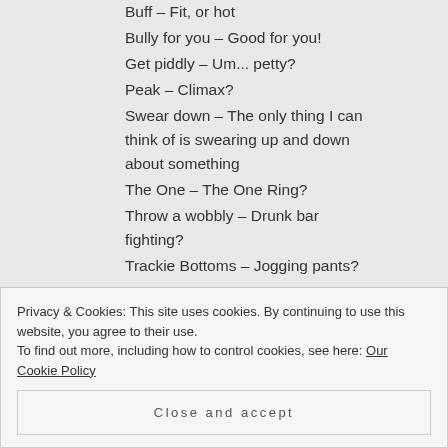Buff – Fit, or hot
Bully for you – Good for you!
Get piddly – Um... petty?
Peak – Climax?
Swear down – The only thing I can think of is swearing up and down about something
The One – The One Ring?
Throw a wobbly – Drunk bar fighting?
Trackie Bottoms – Jogging pants?
Privacy & Cookies: This site uses cookies. By continuing to use this website, you agree to their use.
To find out more, including how to control cookies, see here: Our Cookie Policy
Close and accept